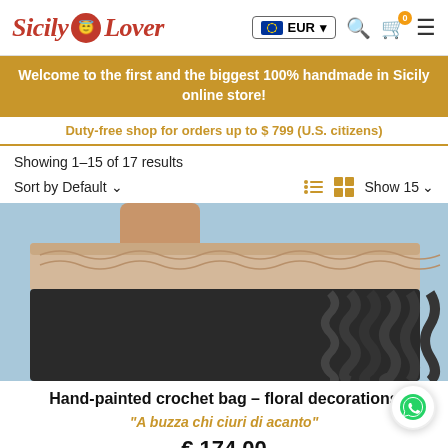[Figure (logo): Sicily Lover logo with red heart and text in italic red script]
EUR ▼
0
Welcome to the first and the biggest 100% handmade in Sicily online store!
Duty-free shop for orders up to $ 799 (U.S. citizens)
Showing 1–15 of 17 results
Sort by Default ∨
Show 15 ∨
[Figure (photo): Close-up photo of a hand-painted crochet bag with floral decorations, dark ruffled body and beige/pink crochet top edge, held by a person against a light blue background]
Hand-painted crochet bag – floral decorations
"A buzza chi ciuri di acanto"
€ 174.00